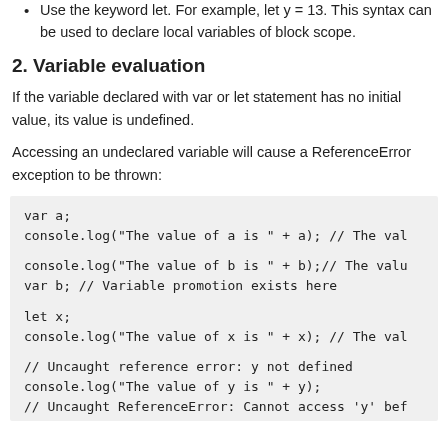Use the keyword let. For example, let y = 13. This syntax can be used to declare local variables of block scope.
2. Variable evaluation
If the variable declared with var or let statement has no initial value, its value is undefined.
Accessing an undeclared variable will cause a ReferenceError exception to be thrown:
[Figure (screenshot): Code block showing JavaScript variable declaration and console.log examples with var a, var b (with variable promotion comment), let x, and undeclared y reference error. Code: var a;
console.log("The value of a is " + a); // The val

console.log("The value of b is " + b);// The valu
var b; // Variable promotion exists here

let x;
console.log("The value of x is " + x); // The val

// Uncaught reference error: y not defined
console.log("The value of y is " + y);
// Uncaught ReferenceError: Cannot access 'y' bef]